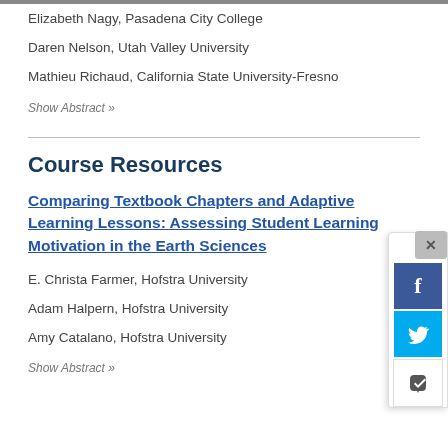Elizabeth Nagy, Pasadena City College
Daren Nelson, Utah Valley University
Mathieu Richaud, California State University-Fresno
Show Abstract »
Course Resources
Comparing Textbook Chapters and Adaptive Learning Lessons: Assessing Student Learning Motivation in the Earth Sciences
E. Christa Farmer, Hofstra University
Adam Halpern, Hofstra University
Amy Catalano, Hofstra University
Show Abstract »